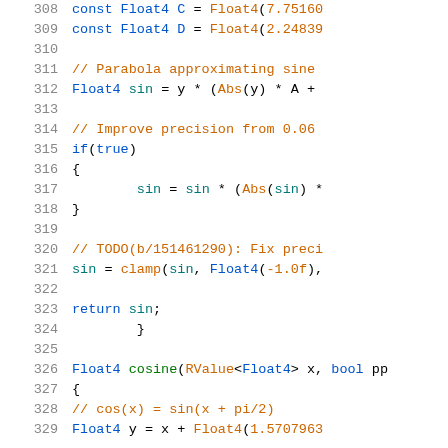[Figure (screenshot): Code snippet showing lines 308-329 of a shader/math source file implementing sine and cosine approximations using Float4 types. Lines include const declarations, parabola approximation, precision improvement block, clamp, return statement, and cosine function signature.]